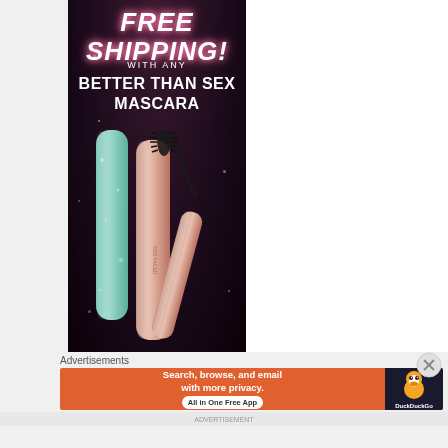[Figure (photo): Cosmetic advertisement banner for Too Faced Better Than Sex Mascara on a dark purple/black background. Text at top reads 'FREE SHIPPING! WITH ANY BETTER THAN SEX MASCARA'. Shows two mascara tube products — one mint/teal glitter tube and one rose gold tube with open mascara wand — against a dark sparkly background.]
Advertisements
[Figure (photo): DuckDuckGo advertisement banner with orange background. Text reads 'Search, browse, and email with more privacy. All in One Free App'. Right side shows DuckDuckGo duck logo on dark background with 'DuckDuckGo' text.]
ADVERTISEMENT